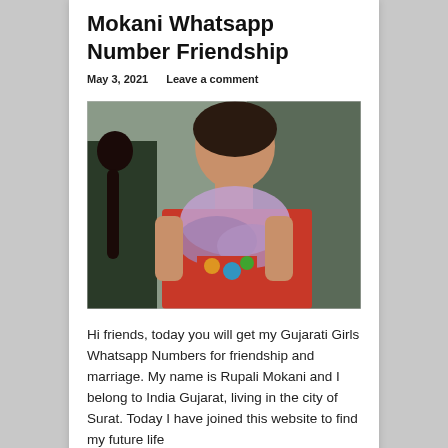Mokani Whatsapp Number Friendship
May 3, 2021    Leave a comment
[Figure (photo): Photo of a young woman wearing a red outfit with a colorful purple/rainbow scarf/dupatta, outdoors]
Hi friends, today you will get my Gujarati Girls Whatsapp Numbers for friendship and marriage. My name is Rupali Mokani and I belong to India Gujarat, living in the city of Surat.  Today I have joined this website to find my future life